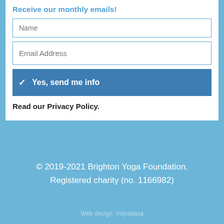Receive our monthly emails!
Name
Email Address
✓  Yes, send me info
Read our Privacy Policy.
© 2019-2021 Brighton Yoga Foundation. Registered charity (no. 1166982)
Web design: Vidyadasa